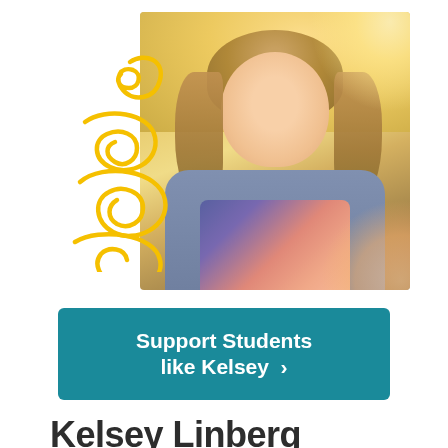[Figure (photo): Smiling young woman with curly hair, wearing a floral shirt and denim jacket, photographed outdoors in bright sunlight. A decorative yellow swirl/spiral illustration overlays the left side of the photo.]
Support Students like Kelsey >
Kelsey Linberg